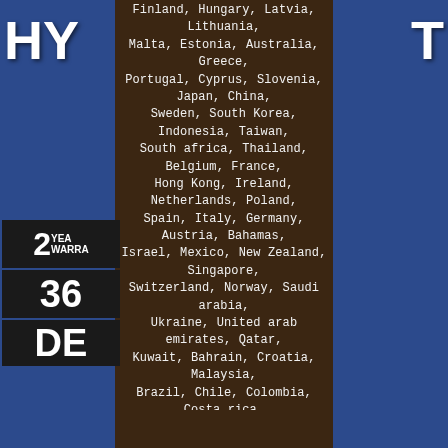Finland, Hungary, Latvia, Lithuania, Malta, Estonia, Australia, Greece, Portugal, Cyprus, Slovenia, Japan, China, Sweden, South Korea, Indonesia, Taiwan, South africa, Thailand, Belgium, France, Hong Kong, Ireland, Netherlands, Poland, Spain, Italy, Germany, Austria, Bahamas, Israel, Mexico, New Zealand, Singapore, Switzerland, Norway, Saudi arabia, Ukraine, United arab emirates, Qatar, Kuwait, Bahrain, Croatia, Malaysia, Brazil, Chile, Colombia, Costa rica, Panama, Trinidad and tobago, Guatemala, Honduras, Jamaica, Barbados, Bangladesh, Bermuda, Brunei darussalam, Bolivia, Ecuador, Egypt, French guiana, Guernsey, Gibraltar, Guadeloupe, Iceland, Jersey, Jordan, Cambodia, Cayman islands, Liechtenstein, Sri lanka, Luxembourg, Monaco, Macao, Martinique, Maldives, Nicaragua, Oman, Peru, Pakistan, Paraguay, Reunion, Viet nam, Uruguay.
UPC: 850021798000 Manufacturer: OPULNET SYSTEMS Type: Not Applicable MPN: Not Applicable Brand: OPULENT SYSTEMS